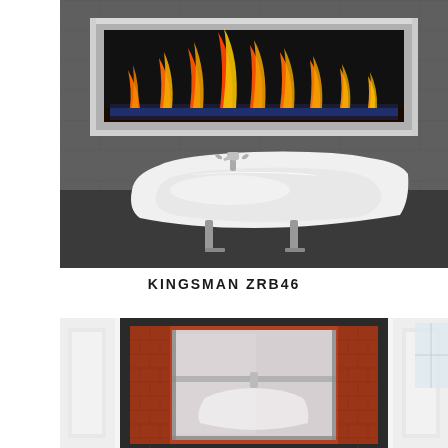[Figure (photo): Kingsman ZRB46 linear gas fireplace mounted on dark concrete wall above a white freestanding bathtub with chrome faucet fixture. The fireplace has a stainless steel surround with orange and yellow flames visible inside.]
KINGSMAN ZRB46
[Figure (photo): Lower portion of another fireplace model shown in a white room setting, partially cropped. The fireplace insert appears to have brick interior and a glass front door with silver hardware.]